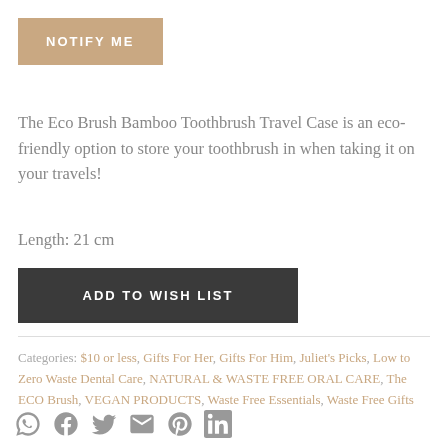[Figure (other): NOTIFY ME button — tan/beige colored button with white uppercase text]
The Eco Brush Bamboo Toothbrush Travel Case is an eco-friendly option to store your toothbrush in when taking it on your travels!
Length: 21 cm
[Figure (other): ADD TO WISH LIST button — dark charcoal colored button with white uppercase text]
Categories: $10 or less, Gifts For Her, Gifts For Him, Juliet's Picks, Low to Zero Waste Dental Care, NATURAL & WASTE FREE ORAL CARE, The ECO Brush, VEGAN PRODUCTS, Waste Free Essentials, Waste Free Gifts
[Figure (other): Social sharing icons: WhatsApp, Facebook, Twitter, Email, Pinterest, LinkedIn]